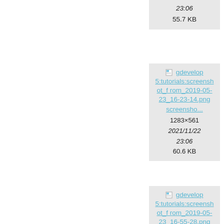[Figure (screenshot): Partial file listing card showing time 23:06 and size 55.7 KB]
[Figure (screenshot): Partial file listing card showing time 23: and size 64.]
[Figure (screenshot): File listing card for gdevelop5:tutorials:screenshot_from_2019-05-23_16-23-14.png, screensho..., 1283x561, 2021/11/22 23:06, 60.6 KB]
[Figure (screenshot): Partial file listing card for gd 5:tut creen rom_ 05-2 45-1, scree..., 1293, 2021/ 23, 103.]
[Figure (screenshot): File listing card for gdevelop5:tutorials:screenshot_from_2019-05-23_16-55-28.png, screensho...]
[Figure (screenshot): Partial file listing card for gd 5:tut creen rom_ 05-2 55-5, scree...]